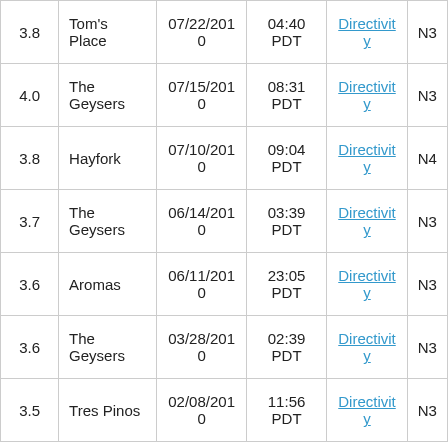| Mag | Location | Date | Time | Link | N... |
| --- | --- | --- | --- | --- | --- |
| 3.8 | Tom's Place | 07/22/2010 | 04:40 PDT | Directivity | N3 |
| 4.0 | The Geysers | 07/15/2010 | 08:31 PDT | Directivity | N3 |
| 3.8 | Hayfork | 07/10/2010 | 09:04 PDT | Directivity | N4 |
| 3.7 | The Geysers | 06/14/2010 | 03:39 PDT | Directivity | N3 |
| 3.6 | Aromas | 06/11/2010 | 23:05 PDT | Directivity | N3 |
| 3.6 | The Geysers | 03/28/2010 | 02:39 PDT | Directivity | N3 |
| 3.5 | Tres Pinos | 02/08/2010 | 11:56 PDT | Directivity | N3 |